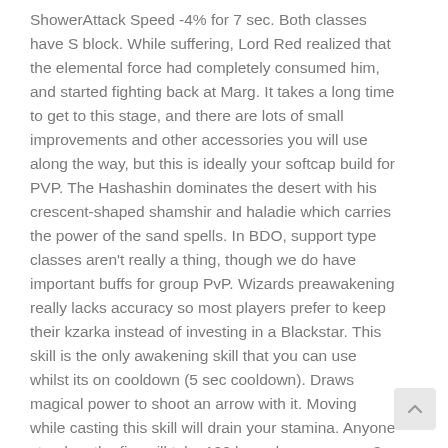ShowerAttack Speed -4% for 7 sec. Both classes have S block. While suffering, Lord Red realized that the elemental force had completely consumed him, and started fighting back at Marg. It takes a long time to get to this stage, and there are lots of small improvements and other accessories you will use along the way, but this is ideally your softcap build for PVP. The Hashashin dominates the desert with his crescent-shaped shamshir and haladie which carries the power of the sand spells. In BDO, support type classes aren't really a thing, though we do have important buffs for group PvP. Wizards preawakening really lacks accuracy so most players prefer to keep their kzarka instead of investing in a Blackstar. This skill is the only awakening skill that you can use whilst its on cooldown (5 sec cooldown). Draws magical power to shoot an arrow with it. Moving while casting this skill will drain your stamina. Anyone stood on the fire will take 100 burn damage every 3 seconds for 36 seconds. 0.0% Positive Ratings (New Seller. Nova is an amazing class that gives a lot of fun. Recovers a certain amount of faraway friends' HP